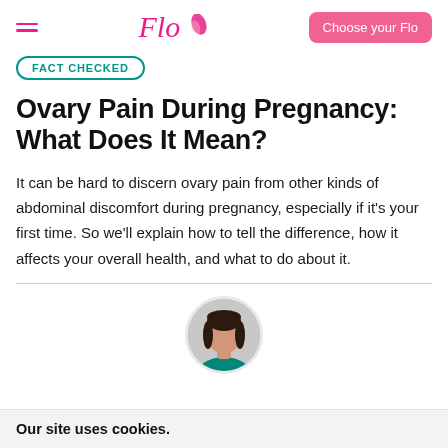Flo — Choose your Flo
FACT CHECKED
Ovary Pain During Pregnancy: What Does It Mean?
It can be hard to discern ovary pain from other kinds of abdominal discomfort during pregnancy, especially if it's your first time. So we'll explain how to tell the difference, how it affects your overall health, and what to do about it.
[Figure (photo): Circular profile photo of a dark-haired woman, author or medical reviewer]
Our site uses cookies.